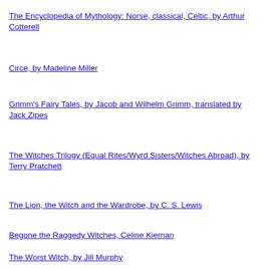The Encyclopedia of Mythology: Norse, classical, Celtic, by Arthur Cotterell
Circe, by Madeline Miller
Grimm's Fairy Tales, by Jacob and Wilhelm Grimm, translated by Jack Zipes
The Witches Trilogy (Equal Rites/Wyrd Sisters/Witches Abroad), by Terry Pratchett
The Lion, the Witch and the Wardrobe, by C. S. Lewis
Begone the Raggedy Witches, Celine Kiernan
The Worst Witch, by Jill Murphy